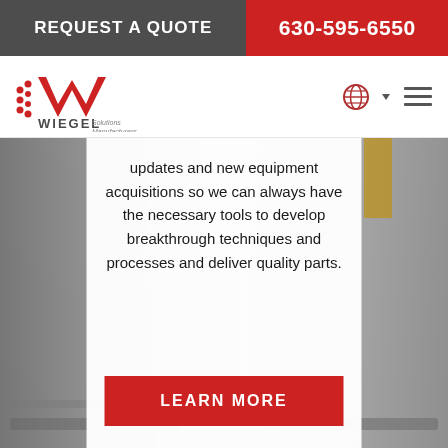REQUEST A QUOTE | 630-595-6550
[Figure (logo): Wiegel Solutions Manufacturing logo — red W with speed lines on left, company name below]
updates and new equipment acquisitions so we can always have the necessary tools to develop breakthrough techniques and processes and deliver quality parts.
LEARN MORE